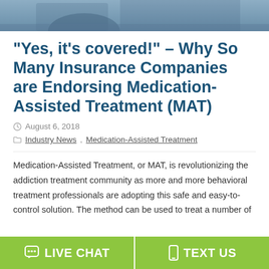[Figure (photo): Photo strip at top of page showing a person, partially cropped, with blue/grey tones]
“Yes, it’s covered!” – Why So Many Insurance Companies are Endorsing Medication-Assisted Treatment (MAT)
August 6, 2018
Industry News, Medication-Assisted Treatment
Medication-Assisted Treatment, or MAT, is revolutionizing the addiction treatment community as more and more behavioral treatment professionals are adopting this safe and easy-to-control solution. The method can be used to treat a number of
LIVE CHAT   TEXT US